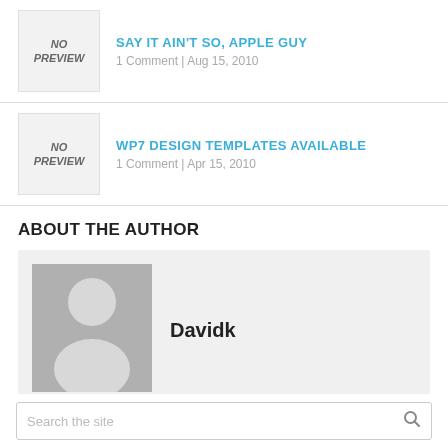SAY IT AIN'T SO, APPLE GUY
1 Comment | Aug 15, 2010
WP7 DESIGN TEMPLATES AVAILABLE
1 Comment | Apr 15, 2010
ABOUT THE AUTHOR
[Figure (illustration): Default user avatar placeholder with silhouette of a person on grey background]
Davidk
Search the site